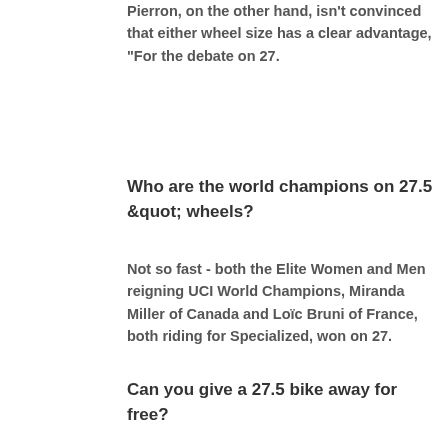Pierron, on the other hand, isn't convinced that either wheel size has a clear advantage, "For the debate on 27.
Who are the world champions on 27.5 &quot; wheels?
Not so fast - both the Elite Women and Men reigning UCI World Champions, Miranda Miller of Canada and Loïc Bruni of France, both riding for Specialized, won on 27.
Can you give a 27.5 bike away for free?